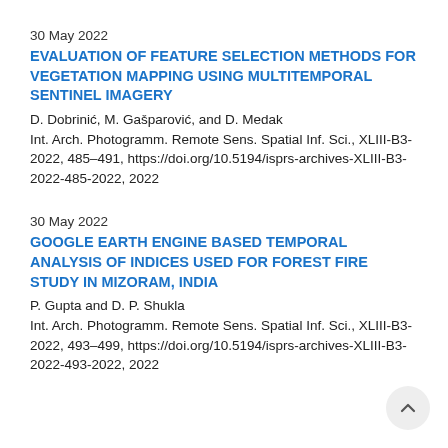30 May 2022
EVALUATION OF FEATURE SELECTION METHODS FOR VEGETATION MAPPING USING MULTITEMPORAL SENTINEL IMAGERY
D. Dobrinić, M. Gašparović, and D. Medak
Int. Arch. Photogramm. Remote Sens. Spatial Inf. Sci., XLIII-B3-2022, 485–491, https://doi.org/10.5194/isprs-archives-XLIII-B3-2022-485-2022, 2022
30 May 2022
GOOGLE EARTH ENGINE BASED TEMPORAL ANALYSIS OF INDICES USED FOR FOREST FIRE STUDY IN MIZORAM, INDIA
P. Gupta and D. P. Shukla
Int. Arch. Photogramm. Remote Sens. Spatial Inf. Sci., XLIII-B3-2022, 493–499, https://doi.org/10.5194/isprs-archives-XLIII-B3-2022-493-2022, 2022